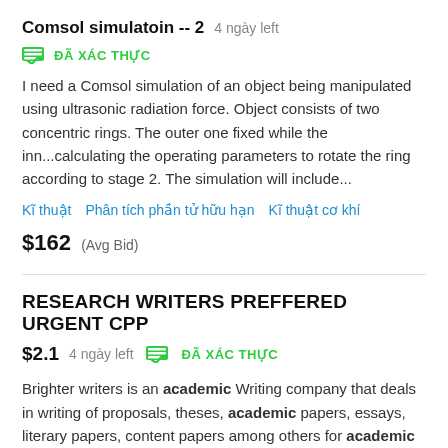Comsol simulatoin -- 2  4 ngày left
ĐÃ XÁC THỰC
I need a Comsol simulation of an object being manipulated using ultrasonic radiation force. Object consists of two concentric rings. The outer one fixed while the inn...calculating the operating parameters to rotate the ring according to stage 2. The simulation will include...
Kĩ thuật   Phân tích phần tử hữu hạn   Kĩ thuật cơ khí
$162  (Avg Bid)
RESEARCH WRITERS PREFFERED URGENT CPP
$2.1  4 ngày left  ĐÃ XÁC THỰC
Brighter writers is an academic Writing company that deals in writing of proposals, theses, academic papers, essays, literary papers, content papers among others for academic institutions and individual academicians for purposes of studies being undertaken. We have been in...